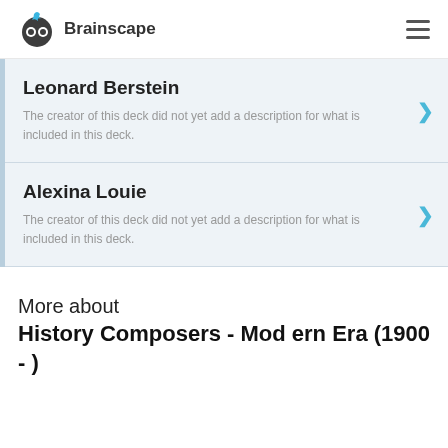Brainscape
Leonard Berstein
The creator of this deck did not yet add a description for what is included in this deck.
Alexina Louie
The creator of this deck did not yet add a description for what is included in this deck.
More about
History Composers - Modern Era (1900 - )